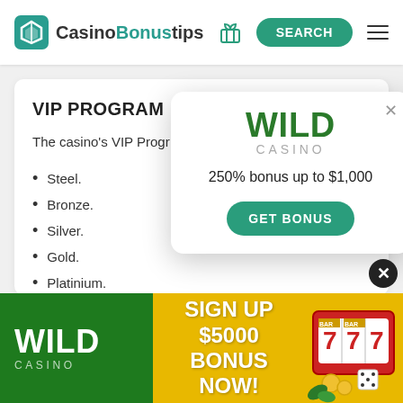CasinoBonustips — SEARCH
VIP PROGRAM
The casino's VIP Progr…
Steel.
Bronze.
Silver.
Gold.
Platinium.
You will need to accumulate at least 50 loyalty points
[Figure (other): Wild Casino popup modal showing '250% bonus up to $1,000' with GET BONUS button]
[Figure (other): Wild Casino bottom banner: SIGN UP $5000 BONUS NOW! with slot machine imagery]